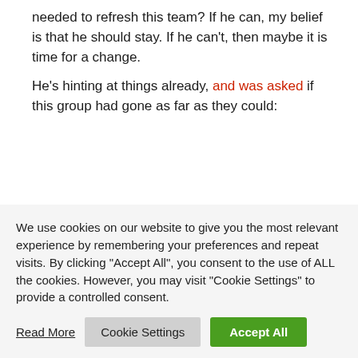needed to refresh this team? If he can, my belief is that he should stay. If he can't, then maybe it is time for a change.
He's hinting at things already, and was asked if this group had gone as far as they could:
I don't know. I want to finish the season and then we'll see. At the moment, we are more concerned by the short term. I don't think it's time to talk about the decisions I will have to make about players. It's not the moment.
We use cookies on our website to give you the most relevant experience by remembering your preferences and repeat visits. By clicking "Accept All", you consent to the use of ALL the cookies. However, you may visit "Cookie Settings" to provide a controlled consent.